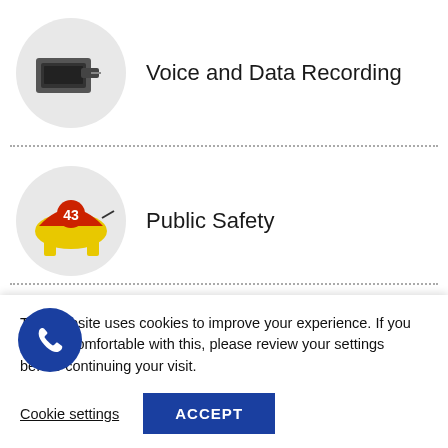Voice and Data Recording
Public Safety
Notifications and Alerts
This website uses cookies to improve your experience. If you are not comfortable with this, please review your settings before continuing your visit.
Cookie settings
ACCEPT